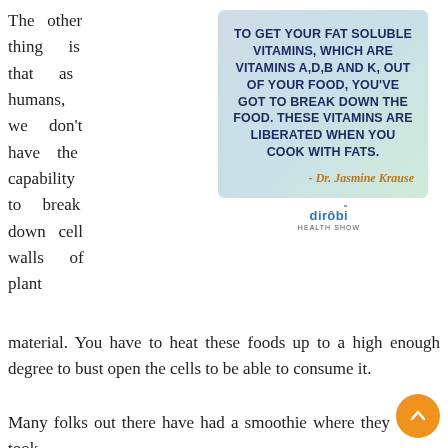The other thing is that as humans, we don't have the capability to break down cell walls of plant material.
[Figure (infographic): Quote card with light blue-green gradient background. Bold dark navy text reads: TO GET YOUR FAT SOLUBLE VITAMINS, WHICH ARE VITAMINS A,D,B AND K, OUT OF YOUR FOOD, YOU'VE GOT TO BREAK DOWN THE FOOD. THESE VITAMINS ARE LIBERATED WHEN YOU COOK WITH FATS. Attribution in gold cursive script: - Dr. Jasmine Krause. Dirobi Health Show logo below.]
You have to heat these foods up to a high enough degree to bust open the cells to be able to consume it.
Many folks out there have had a smoothie where they took